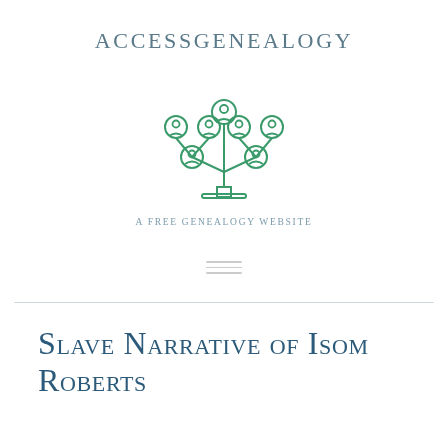[Figure (logo): AccessGenealogy logo: text 'AccessGenealogy' in small caps with a green tree/family icon made of circular person nodes and branches, and tagline 'A Free Genealogy Website']
Slave Narrative of Isom Roberts